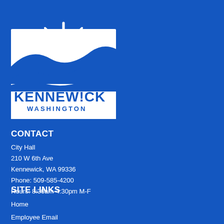[Figure (logo): City of Kennewick Washington logo: white sun with rays rising over rolling hills/waves, with text KENNEWICK WASHINGTON in white on blue background]
CONTACT
City Hall
210 W 6th Ave
Kennewick, WA 99336
Phone: 509-585-4200
Hours: 8:30am-4:30pm M-F
SITE LINKS
Home
Employee Email